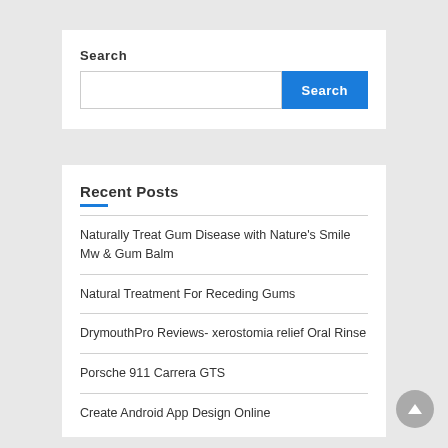Search
Search [input field with Search button]
Recent Posts
Naturally Treat Gum Disease with Nature's Smile Mw & Gum Balm
Natural Treatment For Receding Gums
DrymouthPro Reviews- xerostomia relief Oral Rinse
Porsche 911 Carrera GTS
Create Android App Design Online